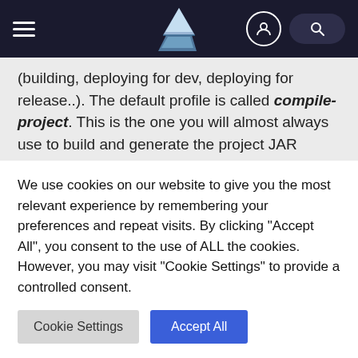[Figure (screenshot): Navigation bar with hamburger menu icon on left, iceberg logo in center, profile icon and search pill on right, dark navy background]
(building, deploying for dev, deploying for release..). The default profile is called compile-project. This is the one you will almost always use to build and generate the project JAR package.
Build from IDE
We use cookies on our website to give you the most relevant experience by remembering your preferences and repeat visits. By clicking "Accept All", you consent to the use of ALL the cookies. However, you may visit "Cookie Settings" to provide a controlled consent.